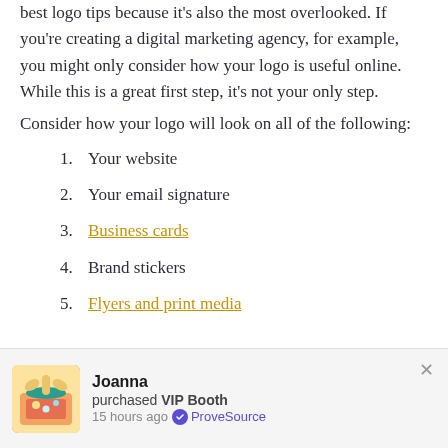best logo tips because it's also the most overlooked. If you're creating a digital marketing agency, for example, you might only consider how your logo is useful online. While this is a great first step, it's not your only step. Consider how your logo will look on all of the following:
1. Your website
2. Your email signature
3. Business cards
4. Brand stickers
5. Flyers and print media
[Figure (screenshot): Notification bar showing Joanna purchased VIP Booth, 15 hours ago, verified by ProveSource]